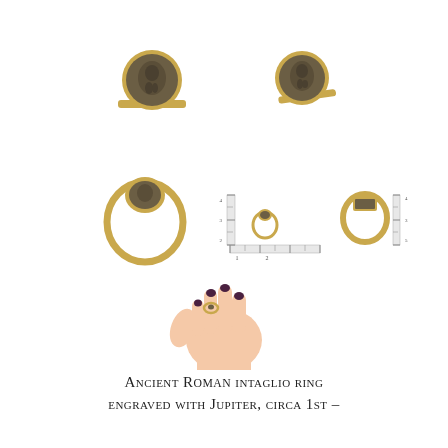[Figure (photo): Multiple photographic views of an ancient Roman gold intaglio ring engraved with Jupiter. Top row: two views of the ring showing the circular dark stone bezel with engraved figure from front and side angle. Middle row: three views including full ring top-down, ring next to a ruler for scale showing small size, and side profile view with ruler. Bottom: hand wearing the ring for size reference.]
Ancient Roman intaglio ring engraved with Jupiter, circa 1st –